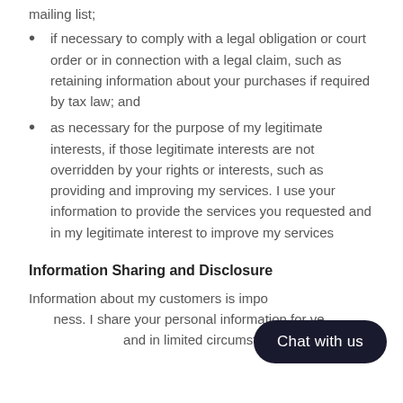mailing list;
if necessary to comply with a legal obligation or court order or in connection with a legal claim, such as retaining information about your purchases if required by tax law; and
as necessary for the purpose of my legitimate interests, if those legitimate interests are not overridden by your rights or interests, such as providing and improving my services. I use your information to provide the services you requested and in my legitimate interest to improve my services
Information Sharing and Disclosure
Information about my customers is important to my business. I share your personal information for very limited reasons and in limited circumstances, as follows: